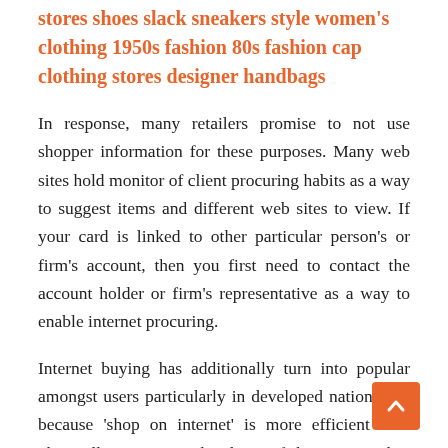stores shoes slack sneakers style women's clothing 1950s fashion 80s fashion cap clothing stores designer handbags
In response, many retailers promise to not use shopper information for these purposes. Many web sites hold monitor of client procuring habits as a way to suggest items and different web sites to view. If your card is linked to other particular person's or firm's account, then you first need to contact the account holder or firm's representative as a way to enable internet procuring.
Internet buying has additionally turn into popular amongst users particularly in developed nations; it's because 'shop on internet' is more efficient than physically going into the shops. If the net store has not joined MasterCard SecureCode and/or Verified by Visa, no further verification of identity is requested via the Swedbank Internet Bank. They also agreed that the